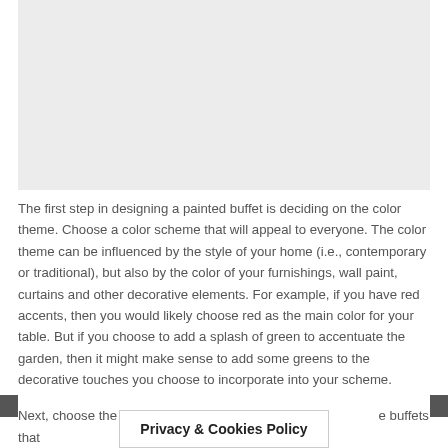[Figure (photo): A light gray rectangular placeholder image area at the top of the page.]
The first step in designing a painted buffet is deciding on the color theme. Choose a color scheme that will appeal to everyone. The color theme can be influenced by the style of your home (i.e., contemporary or traditional), but also by the color of your furnishings, wall paint, curtains and other decorative elements. For example, if you have red accents, then you would likely choose red as the main color for your table. But if you choose to add a splash of green to accentuate the garden, then it might make sense to add some greens to the decorative touches you choose to incorporate into your scheme.
Next, choose the type of pa… buffets that
Privacy & Cookies Policy